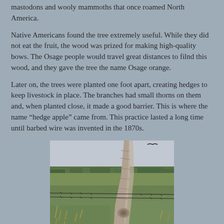mastodons and wooly mammoths that once roamed North America.
Native Americans found the tree extremely useful. While they did not eat the fruit, the wood was prized for making high-quality bows. The Osage people would travel great distances to find this wood, and they gave the tree the name Osage orange.
Later on, the trees were planted one foot apart, creating hedges to keep livestock in place. The branches had small thorns on them and, when planted close, it made a good barrier. This is where the name “hedge apple” came from. This practice lasted a long time until barbed wire was invented in the 1870s.
[Figure (photo): A weathered, gnarled tree trunk or fence post with barbed wire strung through it, standing in a green grassy field with trees visible on the horizon under an overcast sky.]